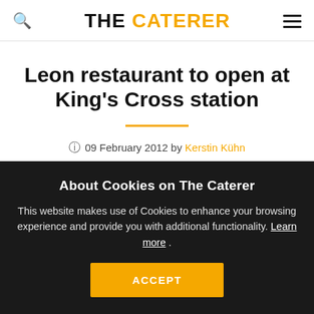THE CATERER
Leon restaurant to open at King's Cross station
09 February 2012 by Kerstin Kühn
About Cookies on The Caterer
This website makes use of Cookies to enhance your browsing experience and provide you with additional functionality. Learn more .
ACCEPT